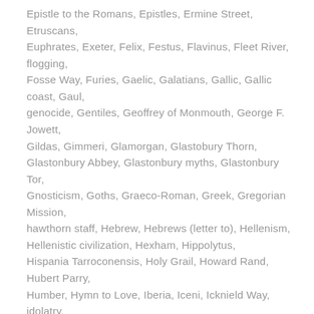Epistle to the Romans, Epistles, Ermine Street, Etruscans, Euphrates, Exeter, Felix, Festus, Flavinus, Fleet River, flogging, Fosse Way, Furies, Gaelic, Galatians, Gallic, Gallic coast, Gaul, genocide, Gentiles, Geoffrey of Monmouth, George F. Jowett, Gildas, Gimmeri, Glamorgan, Glastobury Thorn, Glastonbury Abbey, Glastonbury myths, Glastonbury Tor, Gnosticism, Goths, Graeco-Roman, Greek, Gregorian Mission, hawthorn staff, Hebrew, Hebrews (letter to), Hellenism, Hellenistic civilization, Hexham, Hippolytus, Hispania Tarroconensis, Holy Grail, Howard Rand, Hubert Parry, Humber, Hymn to Love, Iberia, Iceni, Icknield Way, idolatry, Indo-European languages, Industrial Revolution, Inigo Jones, Iolo Morganwg, Iona, Irenaeus, Iron Age, Israel, Jacob, Jeroboam, Jerusalem (hymn), John the Divine, Josehus, Joseph, Joseph of Arimathea, Judah, Julius Caesar, Juno, Jupiter, koinonia, Kyrios, La Téne culture, Lancashire, Last Supper, Latin, Legionaries, Legions, Leicester, Levi, Lincoln, Lindisfarne, liturgy, Llanilid, Llanymynech, Llyn Cerrig Bach, Llyr (King Lear),